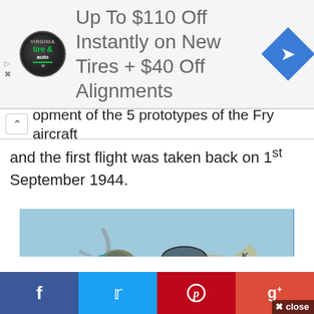[Figure (screenshot): Advertisement banner: circular tire & auto logo, text 'Up To $110 Off Instantly on New Tires + $40 Off Alignments', blue diamond navigation icon]
...opment of the 5 prototypes of the Fry aircraft and the first flight was taken back on 1st September 1944.
[Figure (photo): World War II era propeller aircraft (resembling a Spitfire or similar) in flight against a clear blue sky, with camouflage paint and a spinning propeller with teal spinner.]
[Figure (screenshot): Social sharing bar at bottom with Facebook (dark blue), Twitter (light blue), Pinterest (red), Google+ (red) buttons and an 'x close' button overlay]